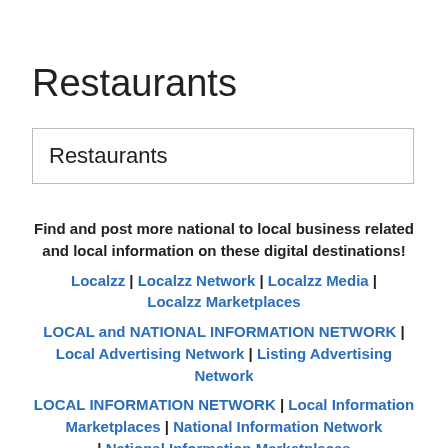Restaurants
Restaurants
Find and post more national to local business related and local information on these digital destinations!
Localzz | Localzz Network | Localzz Media | Localzz Marketplaces
LOCAL and NATIONAL INFORMATION NETWORK | Local Advertising Network | Listing Advertising Network
LOCAL INFORMATION NETWORK | Local Information Marketplaces | National Information Network | National Information Marketplaces